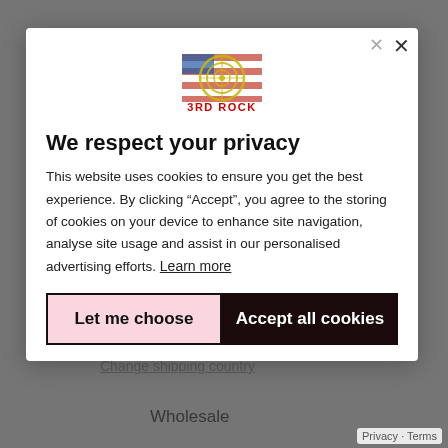[Figure (logo): 3RD ROCK logo with American flag and circular target graphic]
We respect your privacy
This website uses cookies to ensure you get the best experience. By clicking “Accept”, you agree to the storing of cookies on your device to enhance site navigation, analyse site usage and assist in our personalised advertising efforts. Learn more
Let me choose
Accept all cookies
Privacy · Terms